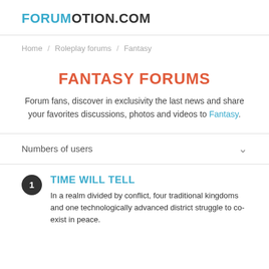FORUMOTION.COM
Home / Roleplay forums / Fantasy
FANTASY FORUMS
Forum fans, discover in exclusivity the last news and share your favorites discussions, photos and videos to Fantasy.
Numbers of users
TIME WILL TELL
In a realm divided by conflict, four traditional kingdoms and one technologically advanced district struggle to co-exist in peace.